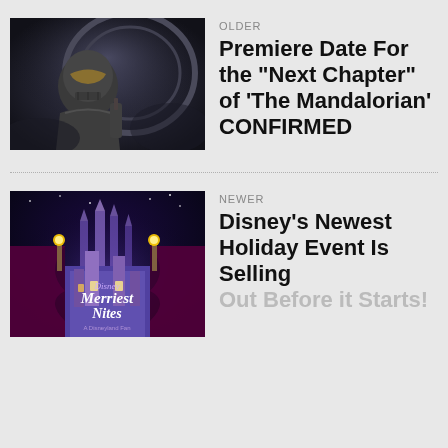[Figure (photo): Mandalorian armored character in a dark sci-fi setting]
OLDER
Premiere Date For the “Next Chapter” of ‘The Mandalorian’ CONFIRMED
[Figure (photo): Disney Merriest Nites event promotional image with illuminated castle]
NEWER
Disney’s Newest Holiday Event Is Selling Out Before it Starts!